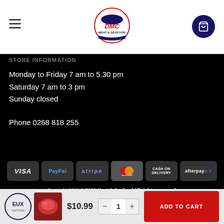[Figure (logo): DMC Meat & Seafood logo with fish and marlin, hamburger menu icon left, cart button right]
STORE INFORMATION
Monday to Friday 7 am to 5.30 pm
Saturday 7 am to 3 pm
Sunday closed
Phone 0268 818 255
[Figure (infographic): Payment method badges: VISA, PayPal, stripe, MasterCard, CASH ON DELIVERY, afterpay]
Copyright 2022 © DMC Meat & Seafood All rights reserved.
Proudly developed and managed by EUX.com.au
$10.99   -  1  +   ADD TO CART